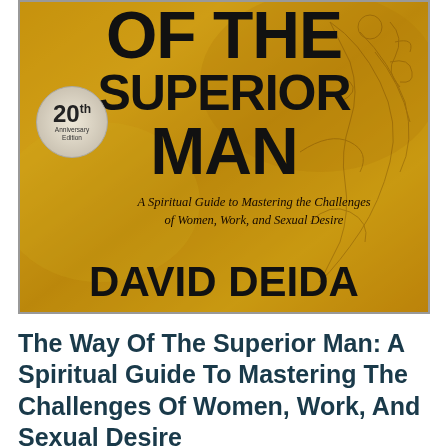[Figure (illustration): Book cover of 'The Way Of The Superior Man' by David Deida, 20th Anniversary Edition. Golden/amber textured background with black bold text and decorative etching of a figure. Features a circular anniversary badge and italic subtitle.]
The Way Of The Superior Man: A Spiritual Guide To Mastering The Challenges Of Women, Work, And Sexual Desire
8,247 ratings